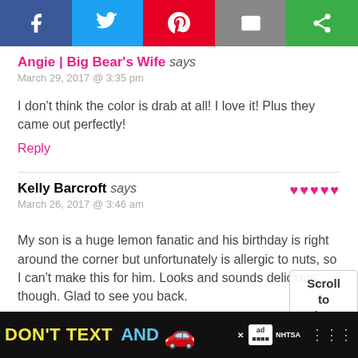[Figure (screenshot): Social media share bar with Facebook, Twitter, Pinterest, Email, and a green share button]
Angie | Big Bear's Wife says
March 29, 2017 @ 3:35 pm
I don't think the color is drab at all! I love it! Plus they came out perfectly!
Reply
Kelly Barcroft says
March 26, 2017 @ 3:46 am
My son is a huge lemon fanatic and his birthday is right around the corner but unfortunately is allergic to nuts, so I can't make this for him. Looks and sounds delicious though. Glad to see you back.
[Figure (screenshot): Scroll to top overlay button reading 'Scroll to top']
[Figure (screenshot): Ad banner: DON'T TEXT AND [car emoji] with NHTSA logo and close button]